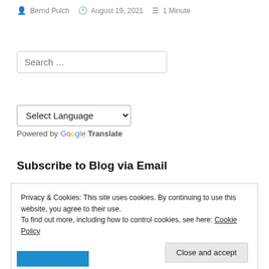Bernd Pulch   August 19, 2021   1 Minute
Search …
Select Language
Powered by Google Translate
Subscribe to Blog via Email
Privacy & Cookies: This site uses cookies. By continuing to use this website, you agree to their use. To find out more, including how to control cookies, see here: Cookie Policy
Close and accept